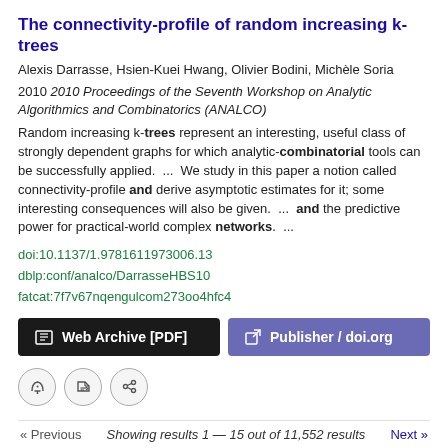The connectivity-profile of random increasing k-trees
Alexis Darrasse, Hsien-Kuei Hwang, Olivier Bodini, Michèle Soria
2010 2010 Proceedings of the Seventh Workshop on Analytic Algorithmics and Combinatorics (ANALCO)
Random increasing k-trees represent an interesting, useful class of strongly dependent graphs for which analytic-combinatorial tools can be successfully applied.  ...  We study in this paper a notion called connectivity-profile and derive asymptotic estimates for it; some interesting consequences will also be given.  ...  and the predictive power for practical-world complex networks.  ...
doi:10.1137/1.9781611973006.13
dblp:conf/analco/DarrasseHBS10
fatcat:7f7v67nqengulcom273oo4hfc4
Web Archive [PDF]
Publisher / doi.org
« Previous    Showing results 1 — 15 out of 11,552 results    Next »